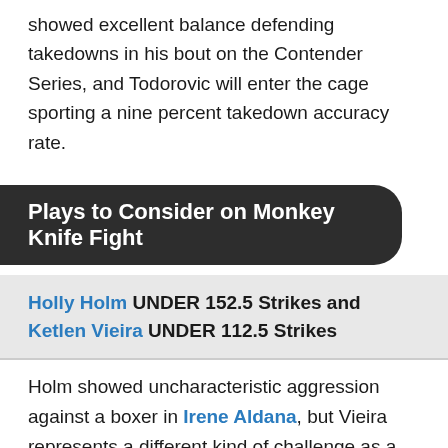showed excellent balance defending takedowns in his bout on the Contender Series, and Todorovic will enter the cage sporting a nine percent takedown accuracy rate.
Plays to Consider on Monkey Knife Fight
Holly Holm UNDER 152.5 Strikes and Ketlen Vieira UNDER 112.5 Strikes
Holm showed uncharacteristic aggression against a boxer in Irene Aldana, but Vieira represents a different kind of challenge as a grappler who will look to pour on the pressure. I think Holm will break out the bicycle for this performance, using her speed and footwork to score points from the outside. Meanwhile, Vieira will likely stall out when she is able to tie up with Holm, who has registered a takedown defense rate of 76 percent.